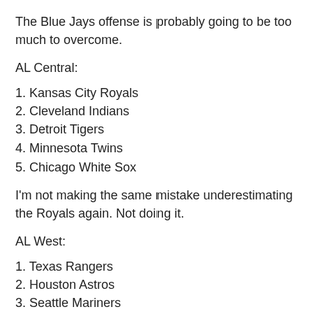The Blue Jays offense is probably going to be too much to overcome.
AL Central:
1. Kansas City Royals
2. Cleveland Indians
3. Detroit Tigers
4. Minnesota Twins
5. Chicago White Sox
I'm not making the same mistake underestimating the Royals again. Not doing it.
AL West:
1. Texas Rangers
2. Houston Astros
3. Seattle Mariners
4. Anaheim Angels
5. Oakland A's